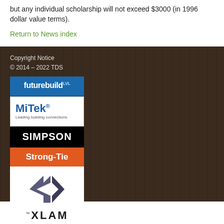but any individual scholarship will not exceed $3000 (in 1996 dollar value terms).
Return to News index
Copyright Notice
© 2014 – 2022 TDS
[Figure (logo): futurebuild LVL logo - blue background with white text]
[Figure (logo): MiTek - Leading building connections logo]
[Figure (logo): Simpson Strong-Tie logo - black and orange]
[Figure (logo): XLAM logo with X icon and text]